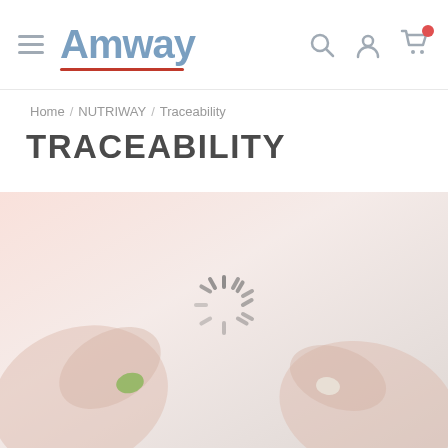Amway navigation header with hamburger menu, logo, search, account, and cart icons
Home / NUTRIWAY / Traceability
TRACEABILITY
[Figure (photo): Hands holding supplement capsules (a green capsule in one hand and a white capsule in another), with a loading spinner overlay on a faded pinkish-beige background]